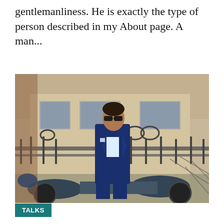gentlemanliness. He is exactly the type of person described in my About page. A man...
[Figure (photo): A stylish man in a blue suit and sunglasses sitting on a scooter/motorcycle in front of a building with ornate iron fencing.]
TALKS